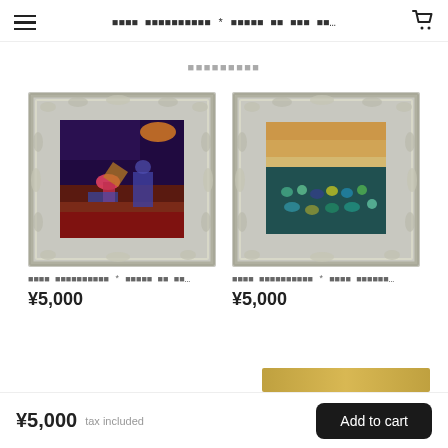≡  ░░░░ ░░░░░░░░░░ * ░░░░░ ░░ ░░░ ░░...  🛒
░░░░░░░░░
[Figure (photo): Framed artwork with ornate silver frame, dark abstract painting with pink and orange highlights]
░░░░ ░░░░░░░░░░ * ░░░░░ ░░ ░░...
¥5,000
[Figure (photo): Framed artwork with ornate silver frame, abstract painting with teal and brown tones]
░░░░ ░░░░░░░░░░ * ░░░░ ░░░░░░...
¥5,000
¥5,000 tax included  Add to cart